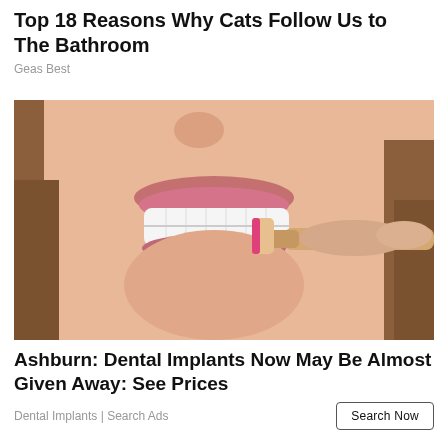Top 18 Reasons Why Cats Follow Us to The Bathroom
Geas Best
[Figure (photo): Close-up photo of a person brushing their teeth with a pink-bristled toothbrush]
Ashburn: Dental Implants Now May Be Almost Given Away: See Prices
Dental Implants | Search Ads
Search Now